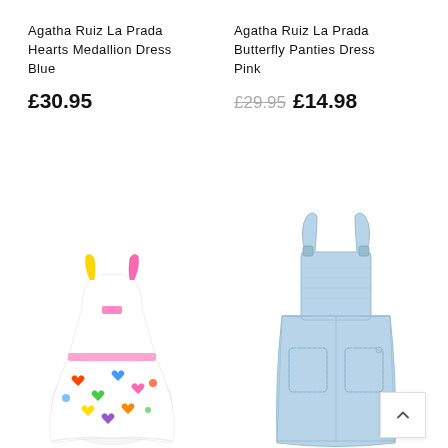Agatha Ruiz La Prada Hearts Medallion Dress Blue
£30.95
Agatha Ruiz La Prada Butterfly Panties Dress Pink
£29.95 £14.98
[Figure (photo): Colorful Agatha Ruiz La Prada floral/hearts print children's dress with flutter sleeves, white background with multicolor butterfly and heart prints]
[Figure (photo): Light blue denim pinafore/dungaree dress for children with shoulder straps and two front pockets]